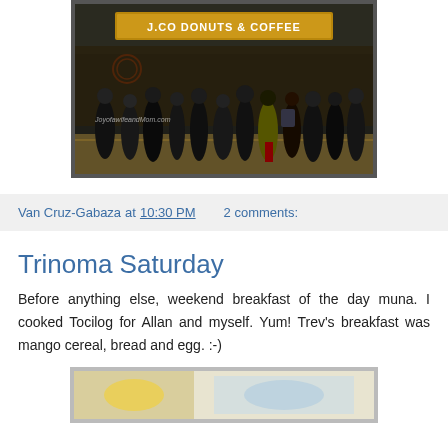[Figure (photo): Photo of a crowd of people queuing in front of a J.CO Donuts & Coffee store inside a mall. A watermark reads 'JoyofawifeandMom.com'.]
Van Cruz-Gabaza at 10:30 PM    2 comments:
Trinoma Saturday
Before anything else, weekend breakfast of the day muna. I cooked Tocilog for Allan and myself. Yum! Trev's breakfast was mango cereal, bread and egg. :-)
[Figure (photo): Partial photo of food (breakfast items), cropped at bottom of page.]